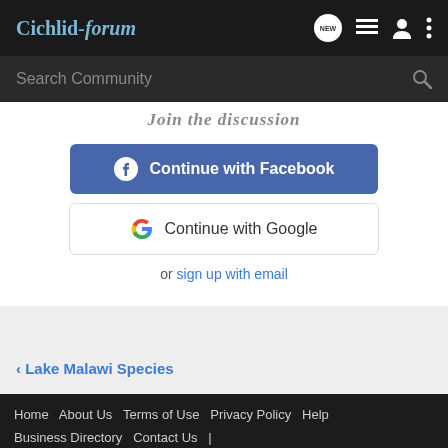Cichlid-forum
Search Community
Join the discussion
Continue with Facebook
Continue with Google
or sign up with email
< Lake Malawi Species
Home  About Us  Terms of Use  Privacy Policy  Help  Business Directory  Contact Us  |  Grow Your Business  NEW